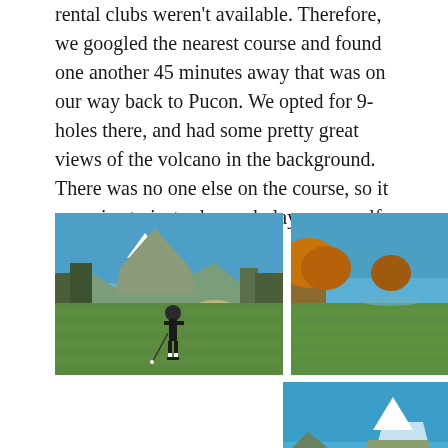rental clubs weren't available. Therefore, we googled the nearest course and found one another 45 minutes away that was on our way back to Pucon. We opted for 9-holes there, and had some pretty great views of the volcano in the background. There was no one else on the course, so it was nice to just relax and play some golf (oh, how I miss it).
[Figure (photo): Woman in dark clothes swinging a golf club on a green fairway with a snow-capped volcano and trees in the background under a blue sky]
[Figure (photo): Golf fairway with lush green grass, trees on both sides, a golfer mid-swing on the right side, blue sky above]
[Figure (photo): Wide view of golf course fairway with a snow-capped volcano visible above the tree line, blue sky, a person standing on the fairway]